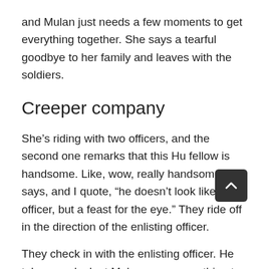and Mulan just needs a few moments to get everything together. She says a tearful goodbye to her family and leaves with the soldiers.
Creeper company
She’s riding with two officers, and the second one remarks that this Hu fellow is handsome. Like, wow, really handsome. He says, and I quote, “he doesn’t look like an officer, but a feast for the eye.” They ride off in the direction of the enlisting officer.
They check in with the enlisting officer. He takes one look at Mulan, says something to the effect of, huh…I thought Hua Hu was a lot older than that, and waves her on. She enters at the rank her father left, as an officer, and rides along with the two soldiers from the nearby village. They